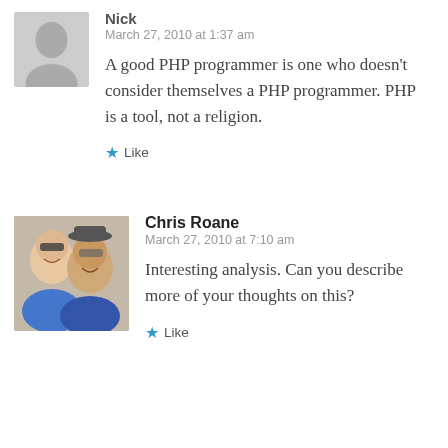[Figure (illustration): Grey silhouette placeholder avatar icon for user Nick]
Nick
March 27, 2010 at 1:37 am
A good PHP programmer is one who doesn't consider themselves a PHP programmer. PHP is a tool, not a religion.
★ Like
[Figure (photo): Profile photo of Chris Roane, a couple smiling, man wearing a hat]
Chris Roane
March 27, 2010 at 7:10 am
Interesting analysis. Can you describe more of your thoughts on this?
★ Like